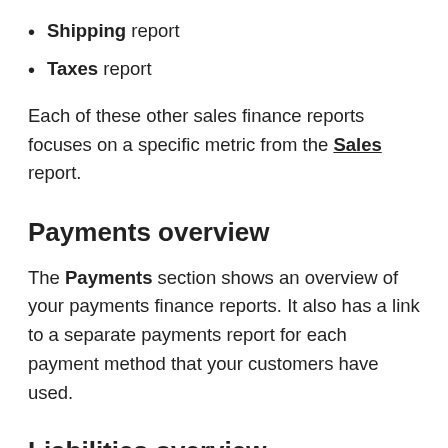Shipping report
Taxes report
Each of these other sales finance reports focuses on a specific metric from the Sales report.
Payments overview
The Payments section shows an overview of your payments finance reports. It also has a link to a separate payments report for each payment method that your customers have used.
Liabilities overview